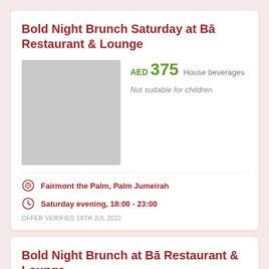Bold Night Brunch Saturday at Bā Restaurant & Lounge
[Figure (photo): Placeholder image for Bold Night Brunch Saturday at Bā Restaurant & Lounge]
AED 375  House beverages
Not suitable for children
Fairmont the Palm, Palm Jumeirah
Saturday evening, 18:00 - 23:00
OFFER VERIFIED 19TH JUL 2022
Bold Night Brunch at Bā Restaurant & Lounge